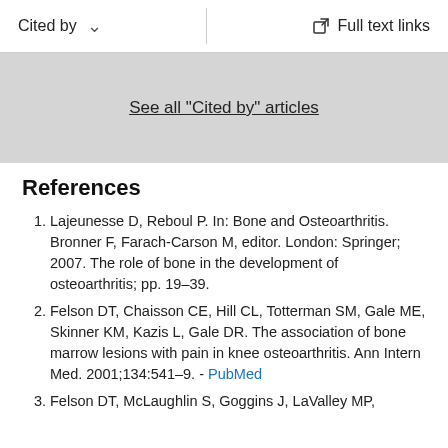Cited by    Full text links
See all "Cited by" articles
References
Lajeunesse D, Reboul P. In: Bone and Osteoarthritis. Bronner F, Farach-Carson M, editor. London: Springer; 2007. The role of bone in the development of osteoarthritis; pp. 19–39.
Felson DT, Chaisson CE, Hill CL, Totterman SM, Gale ME, Skinner KM, Kazis L, Gale DR. The association of bone marrow lesions with pain in knee osteoarthritis. Ann Intern Med. 2001;134:541–9. - PubMed
Felson DT, McLaughlin S, Goggins J, LaValley MP,